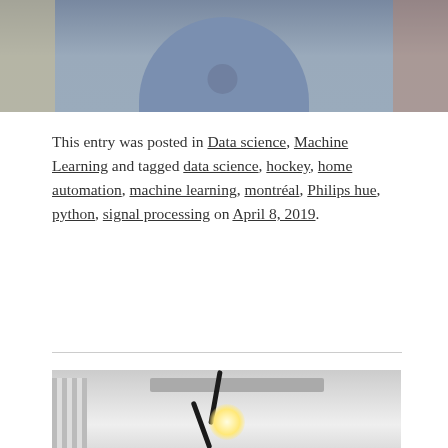[Figure (photo): Partial photo of a person wearing a blue/grey shirt, cropped at the shoulders, with a blurred colorful background.]
This entry was posted in Data science, Machine Learning and tagged data science, hockey, home automation, machine learning, montréal, Philips hue, python, signal processing on April 8, 2019.
[Figure (photo): Photo of a Philips Hue smart light bulb setup on a white lamp stand with black cables and a wall-mounted device, next to a white radiator, in a room with white walls.]